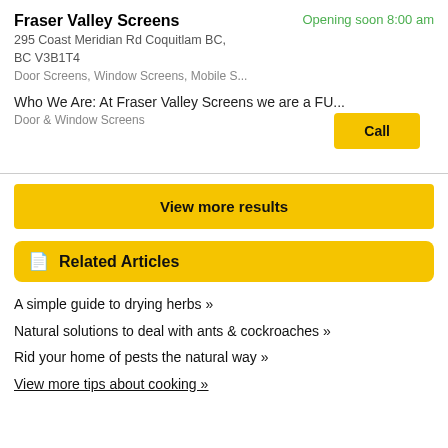Fraser Valley Screens
Opening soon 8:00 am
295 Coast Meridian Rd Coquitlam BC, BC V3B1T4
Door Screens, Window Screens, Mobile S...
Who We Are: At Fraser Valley Screens we are a FU...
Door & Window Screens
Call
View more results
Related Articles
A simple guide to drying herbs »
Natural solutions to deal with ants & cockroaches »
Rid your home of pests the natural way »
View more tips about cooking »